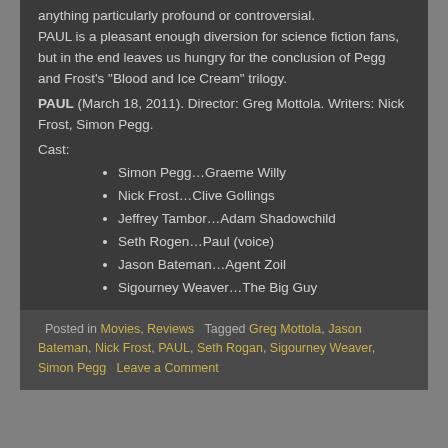anything particularly profound or controversial. PAUL is a pleasant enough diversion for science fiction fans, but in the end leaves us hungry for the conclusion of Pegg and Frost's "Blood and Ice Cream" trilogy.
PAUL (March 18, 2011). Director: Greg Mottola. Writers: Nick Frost, Simon Pegg.
Cast:
Simon Pegg…Graeme Willy
Nick Frost…Clive Gollings
Jeffrey Tambor…Adam Shadowchild
Seth Rogen…Paul (voice)
Jason Bateman…Agent Zoil
Sigourney Weaver…The Big Guy
Posted in Movies, Reviews   Tagged Greg Mottola, Jason Bateman, Nick Frost, PAUL, Seth Rogan, Sigourney Weaver, Simon Pegg   Leave a Comment